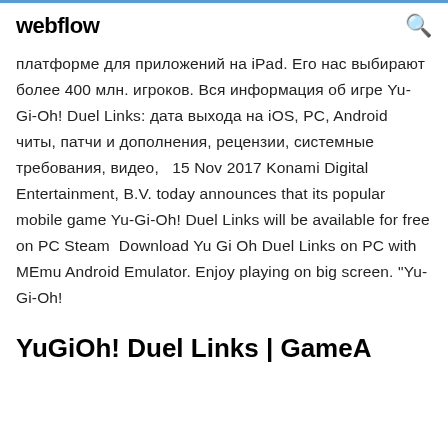webflow
платформе для приложений на iPad. Его нас выбирают более 400 млн. игроков. Вся информация об игре Yu-Gi-Oh! Duel Links: дата выхода на iOS, PC, Android читы, патчи и дополнения, рецензии, системные требования, видео,   15 Nov 2017 Konami Digital Entertainment, B.V. today announces that its popular mobile game Yu-Gi-Oh! Duel Links will be available for free on PC Steam  Download Yu Gi Oh Duel Links on PC with MEmu Android Emulator. Enjoy playing on big screen. "Yu-Gi-Oh!
YuGiOh! Duel Links | GameA